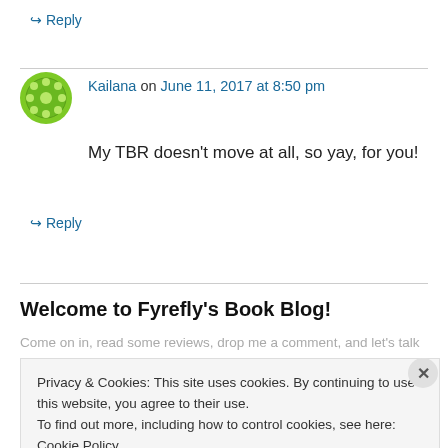↪ Reply
Kailana on June 11, 2017 at 8:50 pm
My TBR doesn't move at all, so yay, for you!
↪ Reply
Welcome to Fyrefly's Book Blog!
Come on in, read some reviews, drop me a comment, and let's talk
Privacy & Cookies: This site uses cookies. By continuing to use this website, you agree to their use.
To find out more, including how to control cookies, see here: Cookie Policy
Close and accept